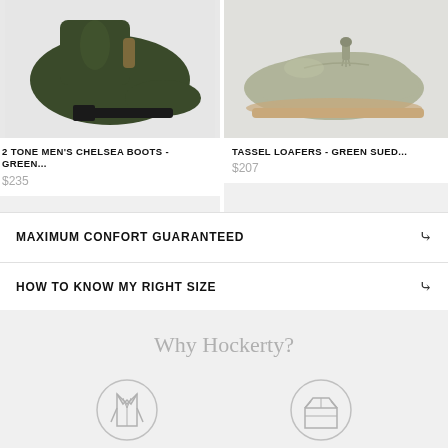[Figure (photo): 2-tone men's chelsea boot in dark olive/green suede, side profile view on light grey background]
2 TONE MEN'S CHELSEA BOOTS - GREEN...
$235
[Figure (photo): Tassel loafer in green suede, side profile view on light grey background, partially cropped]
TASSEL LOAFERS - GREEN SUED...
$207
MAXIMUM CONFORT GUARANTEED
HOW TO KNOW MY RIGHT SIZE
Why Hockerty?
[Figure (illustration): Circle icon with suit/jacket illustration]
[Figure (illustration): Circle icon with open box/delivery illustration]
WE HAVE WHAT YOU ARE...
4.5/5 STARS & 3000...